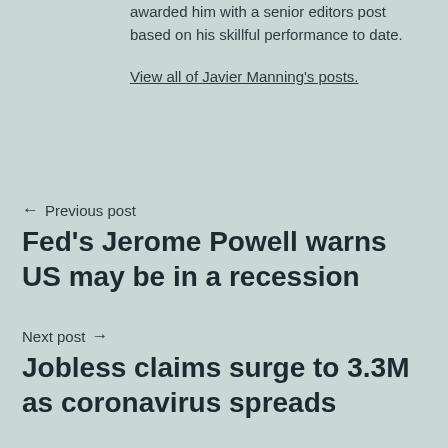awarded him with a senior editors post based on his skillful performance to date.
View all of Javier Manning's posts.
← Previous post
Fed's Jerome Powell warns US may be in a recession
Next post →
Jobless claims surge to 3.3M as coronavirus spreads